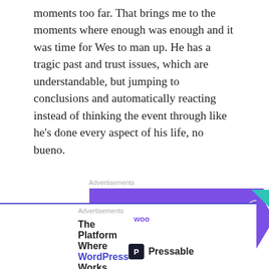moments too far. That brings me to the moments where enough was enough and it was time for Wes to man up. He has a tragic past and trust issues, which are understandable, but jumping to conclusions and automatically reacting instead of thinking the event through like he's done every aspect of his life, no bueno.
[Figure (other): WooCommerce advertisement banner: purple background on left with WooCommerce logo and teal arrow, right side says 'How to start selling subscriptions online' with orange and blue decorative shapes]
Brynley, she has her own special issues, although her sass is a breath of fresh air it is also a lot to take on at times. Because she is so used to letting her mouth control every situation she finds herself running off at the mouth during
[Figure (other): Pressable advertisement banner: 'The Platform Where WordPress Works Best' with Pressable logo on the right]